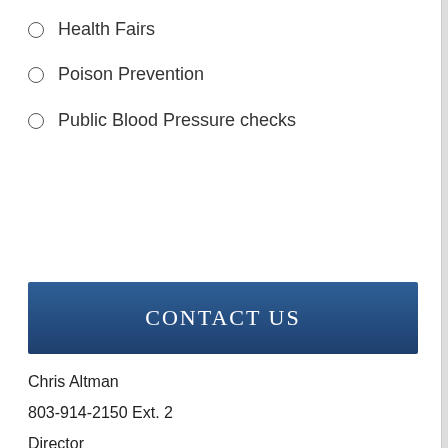Health Fairs
Poison Prevention
Public Blood Pressure checks
CONTACT US
Chris Altman
803-914-2150 Ext. 2
Director
Email
Stephanie Deloach